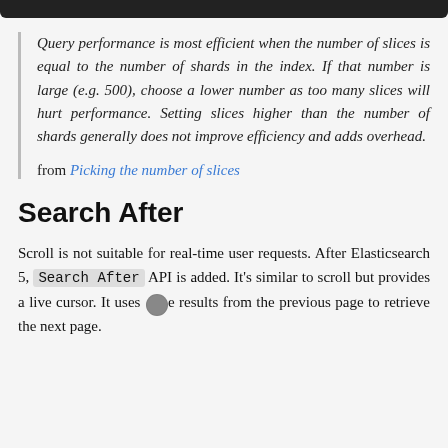Query performance is most efficient when the number of slices is equal to the number of shards in the index. If that number is large (e.g. 500), choose a lower number as too many slices will hurt performance. Setting slices higher than the number of shards generally does not improve efficiency and adds overhead.
from Picking the number of slices
Search After
Scroll is not suitable for real-time user requests. After Elasticsearch 5, Search After API is added. It's similar to scroll but provides a live cursor. It uses the results from the previous page to retrieve the next page.